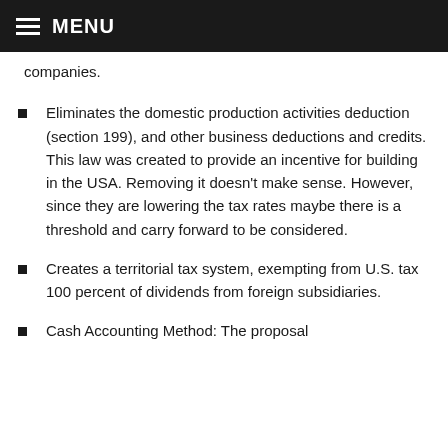MENU
companies.
Eliminates the domestic production activities deduction (section 199), and other business deductions and credits. This law was created to provide an incentive for building in the USA. Removing it doesn’t make sense. However, since they are lowering the tax rates maybe there is a threshold and carry forward to be considered.
Creates a territorial tax system, exempting from U.S. tax 100 percent of dividends from foreign subsidiaries.
Cash Accounting Method: The proposal